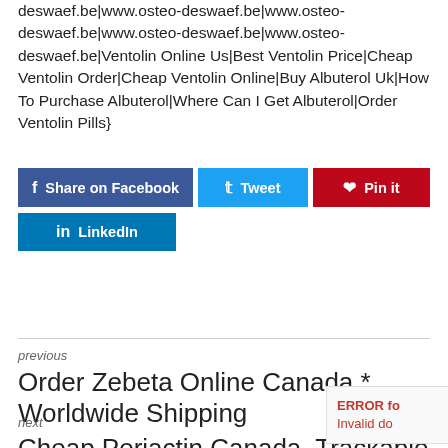deswaef.be|www.osteo-deswaef.be|www.osteo-deswaef.be|www.osteo-deswaef.be|www.osteo-deswaef.be|Ventolin Online Us|Best Ventolin Price|Cheap Ventolin Order|Cheap Ventolin Online|Buy Albuterol Uk|How To Purchase Albuterol|Where Can I Get Albuterol|Order Ventolin Pills}
[Figure (infographic): Social sharing buttons: Share on Facebook (blue), Tweet (light blue), Pin it (red/dark red), LinkedIn (blue)]
previous
Order Zebeta Online Canada * Worldwide Shipping
next
Cheap Periactin Canada. Trackable Shipping